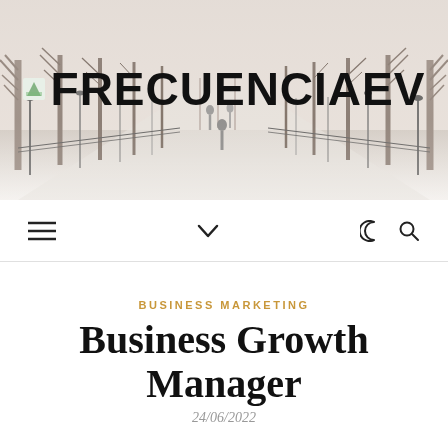[Figure (photo): Winter park scene with snow-covered path lined with bare trees and lamp posts, people walking in the distance]
FRECUENCIAEV
[Figure (other): Navigation bar with hamburger menu icon, chevron/down arrow, moon icon, and search icon]
BUSINESS MARKETING
Business Growth Manager
24/06/2022